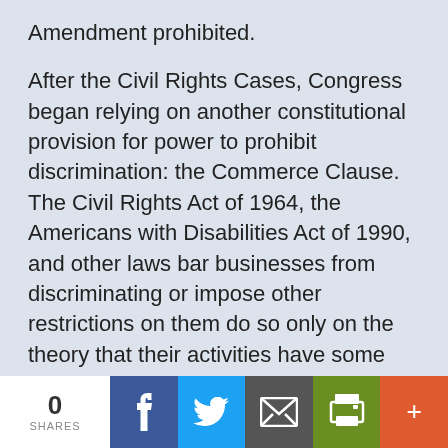Amendment prohibited.
After the Civil Rights Cases, Congress began relying on another constitutional provision for power to prohibit discrimination: the Commerce Clause. The Civil Rights Act of 1964, the Americans with Disabilities Act of 1990, and other laws bar businesses from discriminating or impose other restrictions on them do so only on the theory that their activities have some effect on interstate commerce. Although in the 1976 case of Runyon v. McCrary, the Court seemed to agree with Justice Harlan